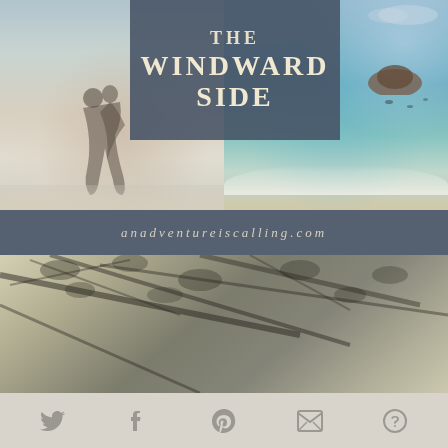[Figure (photo): Two beach photos side by side: left shows a couple dancing/dipping on a sandy beach, right shows a tropical beach with turquoise water and a rocky island in background with swimmers]
THE WINDWARD SIDE
anadventureiscalling.com
[Figure (photo): Looking up through tropical tree branches against a light sky, black and white/sepia toned photo]
Things To Do
[Figure (infographic): Social share bar with icons for Twitter, Facebook, Pinterest, Email, and More]